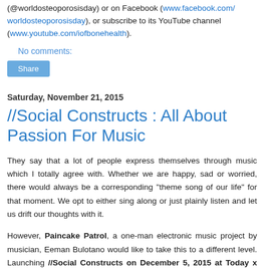(@worldosteoporosisday) or on Facebook (www.facebook.com/worldosteoporosisday), or subscribe to its YouTube channel (www.youtube.com/iofbonehealth).
No comments:
Share
Saturday, November 21, 2015
//Social Constructs : All About Passion For Music
They say that a lot of people express themselves through music which I totally agree with. Whether we are happy, sad or worried, there would always be a corresponding "theme song of our life" for that moment. We opt to either sing along or just plainly listen and let us drift our thoughts with it.
However, Paincake Patrol, a one-man electronic music project by musician, Eeman Bulotano would like to take this to a different level. Launching //Social Constructs on December 5, 2015 at Today x Future in Cubao, Quezon City,